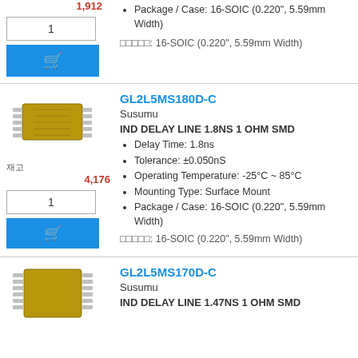Package / Case: 16-SOIC (0.220", 5.59mm Width)
□□□□□: 16-SOIC (0.220", 5.59mm Width)
GL2L5MS180D-C
Susumu
IND DELAY LINE 1.8NS 1 OHM SMD
Delay Time: 1.8ns
Tolerance: ±0.050nS
Operating Temperature: -25°C ~ 85°C
Mounting Type: Surface Mount
Package / Case: 16-SOIC (0.220", 5.59mm Width)
□□□□□: 16-SOIC (0.220", 5.59mm Width)
4,176
GL2L5MS170D-C
Susumu
IND DELAY LINE 1.47NS 1 OHM SMD